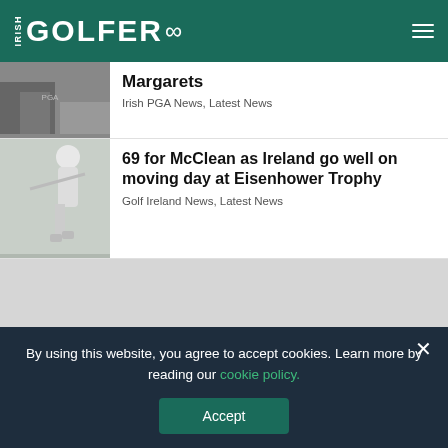IRISH GOLFER
Margarets
Irish PGA News, Latest News
69 for McClean as Ireland go well on moving day at Eisenhower Trophy
Golf Ireland News, Latest News
[Figure (photo): Grey advertisement placeholder area]
By using this website, you agree to accept cookies. Learn more by reading our cookie policy.